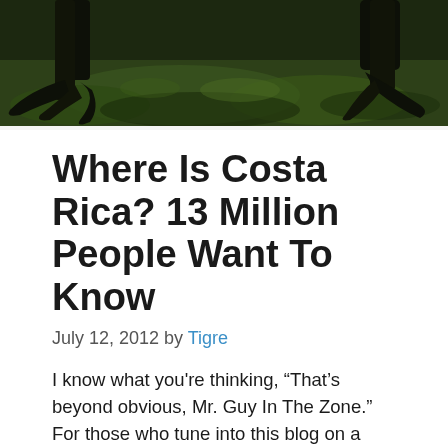[Figure (photo): Dark nature photo showing tree roots and green grass with shadows, taken in a dim outdoor setting.]
Where Is Costa Rica? 13 Million People Want To Know
July 12, 2012 by Tigre
I know what you're thinking, “That’s beyond obvious, Mr. Guy In The Zone.” For those who tune into this blog on a regular basis, I agree… BUT, did you know that the search term “Where Is Costa Rica” gets over 13 million global monthly Internet searches? Two things came to mind when I saw this